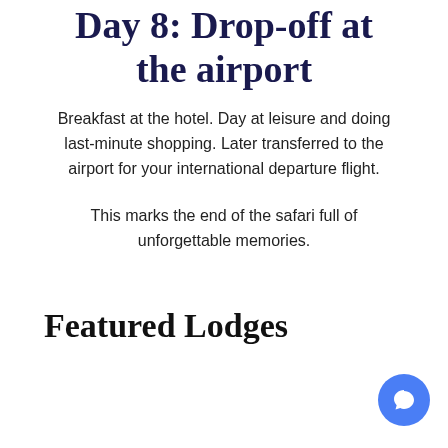Day 8: Drop-off at the airport
Breakfast at the hotel. Day at leisure and doing last-minute shopping. Later transferred to the airport for your international departure flight.
This marks the end of the safari full of unforgettable memories.
Featured Lodges
[Figure (other): Blue circular chat button in bottom-right corner]